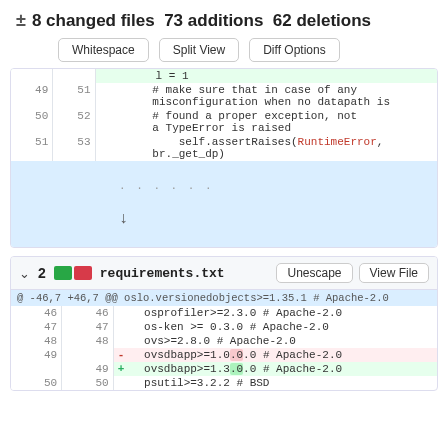± 8 changed files 73 additions 62 deletions
[Figure (screenshot): Code diff view with buttons: Whitespace, Split View, Diff Options]
[Figure (screenshot): requirements.txt diff section showing changes to ovsdbapp version from 1.0.0 to 1.3.0]